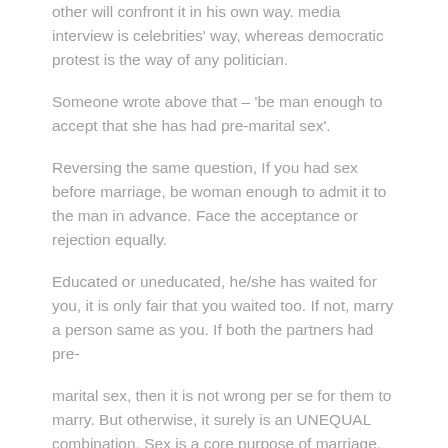other will confront it in his own way. media interview is celebrities' way, whereas democratic protest is the way of any politician.
Someone wrote above that – 'be man enough to accept that she has had pre-marital sex'.
Reversing the same question, If you had sex before marriage, be woman enough to admit it to the man in advance. Face the acceptance or rejection equally.
Educated or uneducated, he/she has waited for you, it is only fair that you waited too. If not, marry a person same as you. If both the partners had pre-
marital sex, then it is not wrong per se for them to marry. But otherwise, it surely is an UNEQUAL combination. Sex is a core purpose of marriage.